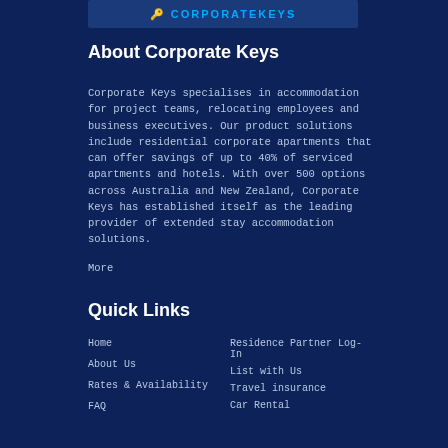[Figure (logo): Corporate Keys logo with key icon and bold text on dark blue banner]
About Corporate Keys
Corporate Keys specialises in accommodation for project teams, relocating employees and business executives. Our product solutions include residential corporate apartments that can offer savings of up to 40% of serviced apartments and hotels. With over 500 options across Australia and New Zealand, Corporate Keys has established itself as the leading provider of extended stay accommodation solutions.
More
Quick Links
Home
About Us
Rates & Availability
FAQ
Residence Partner Log-In
List with Us
Travel insurance
Car Rental